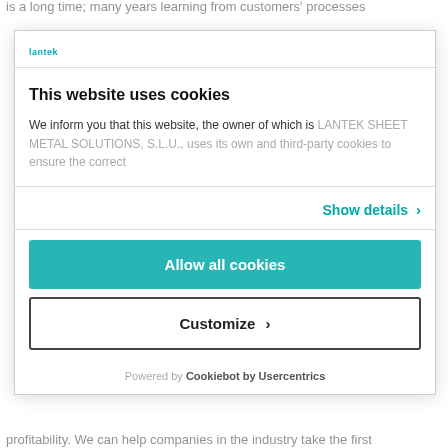is a long time; many years learning from customers' processes
[Figure (logo): Lantek logo in teal/cyan color]
This website uses cookies
We inform you that this website, the owner of which is LANTEK SHEET METAL SOLUTIONS, S.L.U., uses its own and third-party cookies to ensure the correct
Show details ›
Allow all cookies
Customize ›
Powered by Cookiebot by Usercentrics
profitability. We can help companies in the industry take the first